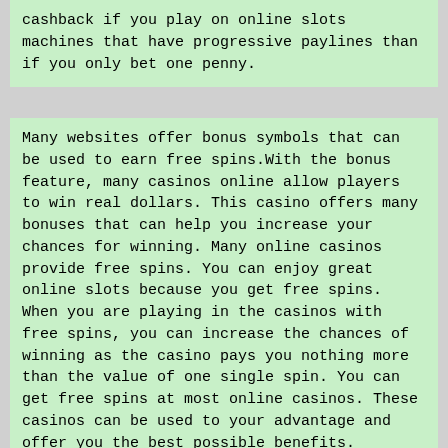cashback if you play on online slots machines that have progressive paylines than if you only bet one penny.
Many websites offer bonus symbols that can be used to earn free spins.With the bonus feature, many casinos online allow players to win real dollars. This casino offers many bonuses that can help you increase your chances for winning. Many online casinos provide free spins. You can enjoy great online slots because you get free spins. When you are playing in the casinos with free spins, you can increase the chances of winning as the casino pays you nothing more than the value of one single spin. You can get free spins at most online casinos. These casinos can be used to your advantage and offer you the best possible benefits.